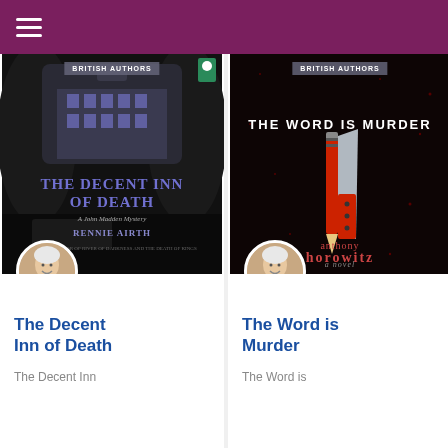BRITISH AUTHORS
[Figure (illustration): Book cover for 'The Decent Inn of Death' by Rennie Airth - dark moody car interior scene with purple text title]
The Decent Inn of Death
The Decent Inn
[Figure (illustration): Book cover for 'The Word is Murder' by Anthony Horowitz - dark background with red pencil and knife graphic]
The Word is Murder
The Word is